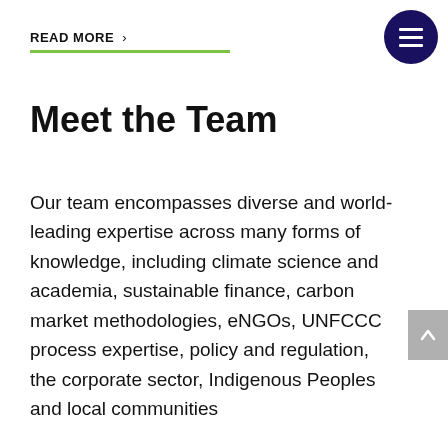READ MORE >
Meet the Team
Our team encompasses diverse and world-leading expertise across many forms of knowledge, including climate science and academia, sustainable finance, carbon market methodologies, eNGOs, UNFCCC process expertise, policy and regulation, the corporate sector, Indigenous Peoples and local communities